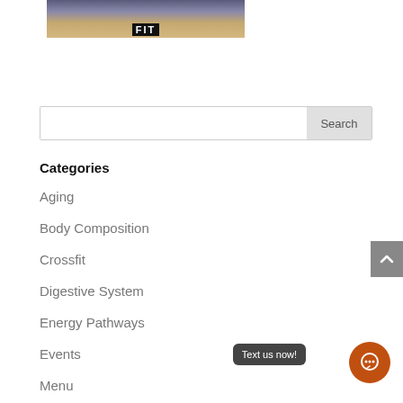[Figure (photo): Group photo of people in a gym/fitness setting with a FIT logo sign visible]
Search
Categories
Aging
Body Composition
Crossfit
Digestive System
Energy Pathways
Events
Menu